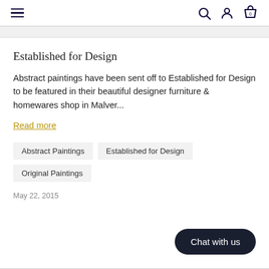Navigation header with hamburger menu, search, user, and cart icons
Established for Design
Abstract paintings have been sent off to Established for Design to be featured in their beautiful designer furniture & homewares shop in Malver...
Read more
Abstract Paintings
Established for Design
Original Paintings
May 22, 2015
Chat with us